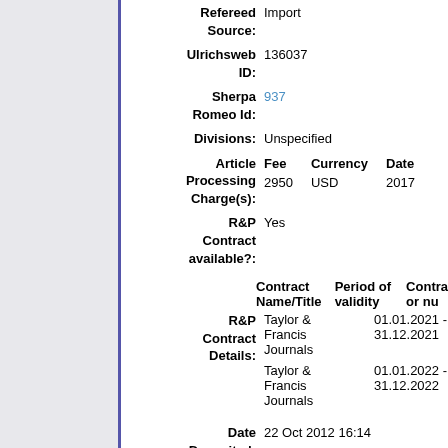Refereed Source: Import
Ulrichsweb ID: 136037
Sherpa Romeo Id: 937
Divisions: Unspecified
| Fee | Currency | Date |
| --- | --- | --- |
| 2950 | USD | 2017 |
R&P Contract available?: Yes
| Contract Name/Title | Period of validity | Contract or number |
| --- | --- | --- |
| Taylor & Francis Journals | 01.01.2021 - 31.12.2021 | TandF2 |
| Taylor & Francis Journals | 01.01.2022 - 31.12.2022 | TandF2 |
Date Deposited: 22 Oct 2012 16:14
Last Modified: 05 Aug 2022 00:15